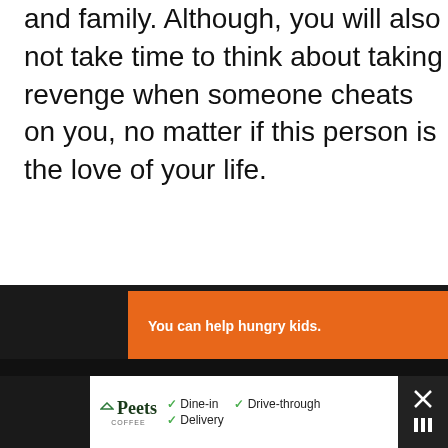and family. Although, you will also not take time to think about taking revenge when someone cheats on you, no matter if this person is the love of your life.
[Figure (screenshot): Advertisement banner: orange background with text 'You can help hungry kids.' and No Kid Hungry logo and 'LEARN HOW' button, with a close X button in upper right. Below is a large dark/black area (video or media placeholder). At the bottom is a Peets Coffee advertisement showing Dine-in, Drive-through, and Delivery options with map icon and close button.]